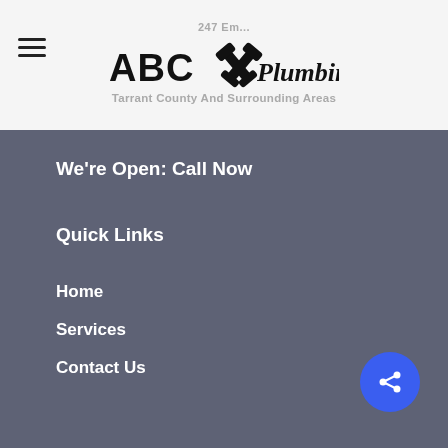[Figure (logo): ABC Plumbing logo with crossed wrenches icon, text 'ABC Plumbing' in stylized font]
We're Open: Call Now
Quick Links
Home
Services
Contact Us